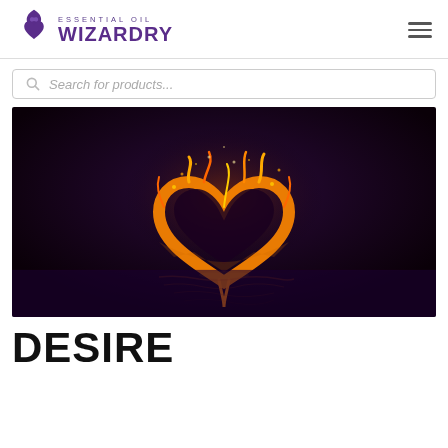ESSENTIAL OIL WIZARDRY
Search for products...
[Figure (photo): A flaming heart shape made of fire, reflected on a dark purple water surface, on a black/dark purple background.]
DESIRE